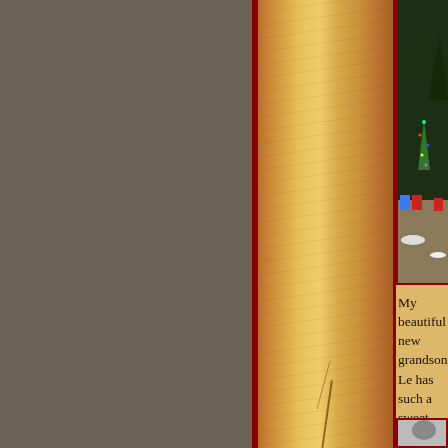[Figure (photo): Outdoor winter scene with colorful Adirondack chairs (blue and red), a lit Christmas tree, and dark evergreen trees in background, partially visible on right edge of page]
My beautiful new grandson Le has such a sweet disposition, i wonderful chunkiness everyw think this picture below is one took it seconds after Levi Sam Carolyn's faces needs no expla
[Figure (photo): Black and white photo, partially visible, appears to show a person, lower right area of page]